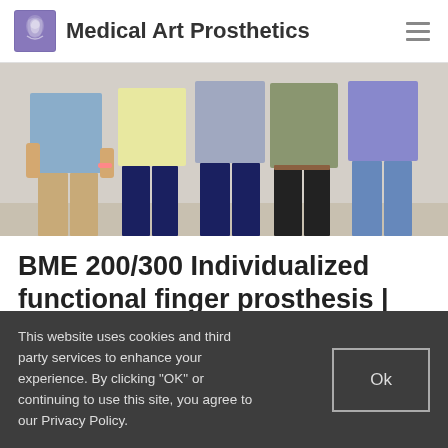Medical Art Prosthetics
[Figure (photo): Group photo showing five people standing side by side, torsos visible, wearing casual clothing in various colors including blue, yellow, patterned, olive/green, and purple/lavender.]
BME 200/300 Individualized functional finger prosthesis | Fall 2014
This website uses cookies and third party services to enhance your experience. By clicking "OK" or continuing to use this site, you agree to our Privacy Policy.